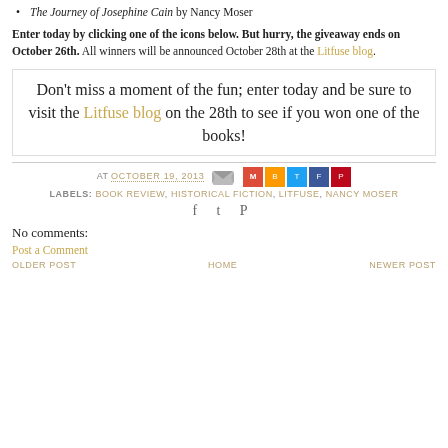The Journey of Josephine Cain by Nancy Moser
Enter today by clicking one of the icons below. But hurry, the giveaway ends on October 26th. All winners will be announced October 28th at the Litfuse blog.
Don't miss a moment of the fun; enter today and be sure to visit the Litfuse blog on the 28th to see if you won one of the books!
AT OCTOBER 19, 2013 [email icon] [share icons: Gmail, Blogger, Twitter, Facebook, Pinterest]
LABELS: BOOK REVIEW, HISTORICAL FICTION, LITFUSE, NANCY MOSER
[facebook] [twitter] [pinterest]
No comments:
Post a Comment
OLDER POST   HOME   NEWER POST